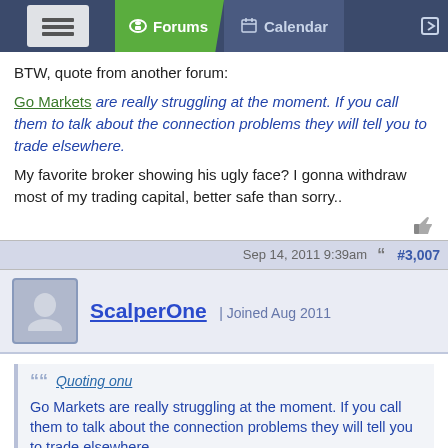Forums | Calendar
BTW, quote from another forum:
Go Markets are really struggling at the moment. If you call them to talk about the connection problems they will tell you to trade elsewhere.
My favorite broker showing his ugly face? I gonna withdraw most of my trading capital, better safe than sorry..
Sep 14, 2011 9:39am  #3,007
ScalperOne | Joined Aug 2011
Quoting onu
Go Markets are really struggling at the moment. If you call them to talk about the connection problems they will tell you to trade elsewhere.
1 ← Page 151 → 238
[Figure (screenshot): OANDA ad banner: SWITCH TO A BROKER WITH INTEGRITY | OANDA TRADE NOW]